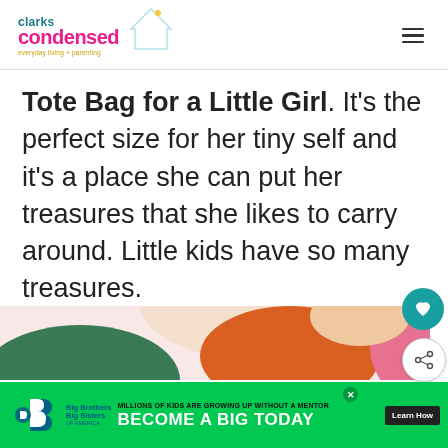clarks condensed
Tote Bag for a Little Girl. It's the perfect size for her tiny self and it's a place she can put her treasures that she likes to carry around. Little kids have so many treasures.
[Figure (screenshot): Colorful abstract shapes advertisement banner area with green, orange, pink abstract blobs]
[Figure (infographic): What's Next panel showing DIY Tooth Fairy Pillow... with a small toy image]
[Figure (infographic): Big Brothers Big Sisters advertisement banner: MILLIONS OF KIDS ARE GROWING UP WITHOUT A MENTOR. BECOME A BIG TODAY. Learn How button.]